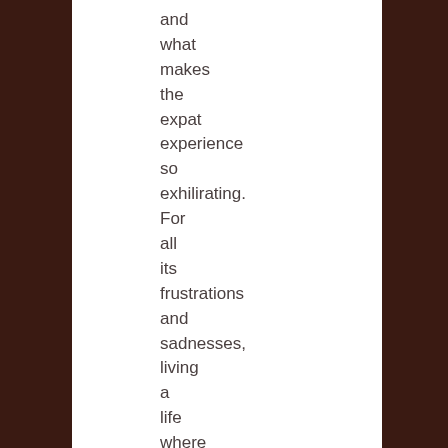and what makes the expat experience so exhilirating. For all its frustrations and sadnesses, living a life where there are always surprises